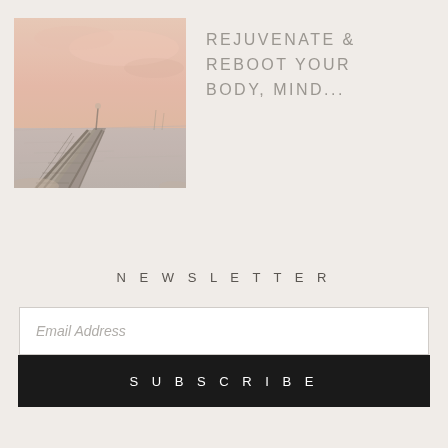[Figure (photo): A serene pier/dock extending over calm water at sunset with pink and peach tones in the sky, muted and softly lit]
REJUVENATE & REBOOT YOUR BODY, MIND...
NEWSLETTER
Email Address
SUBSCRIBE